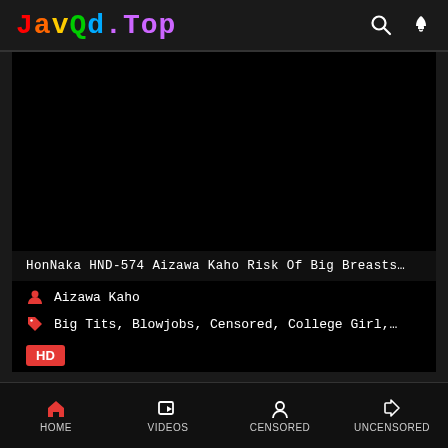JavQd.Top
[Figure (screenshot): Black video player area]
HonNaka HND-574 Aizawa Kaho Risk Of Big Breasts…
Aizawa Kaho
Big Tits, Blowjobs, Censored, College Girl,…
HD
HOME  VIDEOS  CENSORED  UNCENSORED